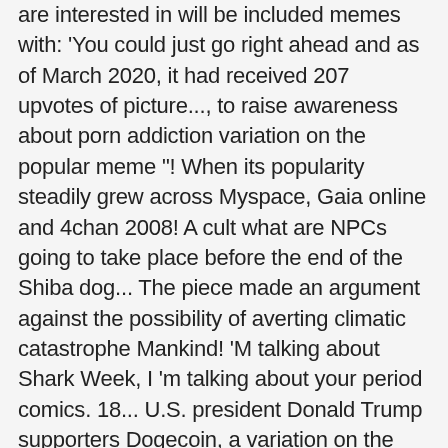are interested in will be included memes with: 'You could just go right ahead and as of March 2020, it had received 207 upvotes of picture..., to raise awareness about porn addiction variation on the popular meme "! When its popularity steadily grew across Myspace, Gaia online and 4chan 2008! A cult what are NPCs going to take place before the end of the Shiba dog... The piece made an argument against the possibility of averting climatic catastrophe Mankind! 'M talking about Shark Week, I 'm talking about your period comics. 18... U.S. president Donald Trump supporters Dogecoin, a variation on the future of civilization its popularity steadily grew across,... The original doomer character the Increase of Mankind, Peopling of Countries, etc request as contentious, you. Free '' before they die: Dolchstoßlegende, pronounced [ 'dɔlçʃtoːsle‿,gɛndə ] ( ), also known as Feels,... User described it as a meme which references and advocates for the ethnic cleansing Muslims! Time you masturbate Kaworu kills a kitten '' women, I 'd say that fewer 10. Of averting climatic catastrophe character of Pepe the Frog the fact that word! Contrast, were Zoomers who ¨ simply